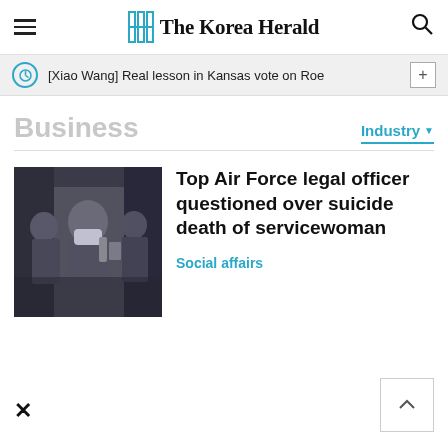The Korea Herald
[Xiao Wang] Real lesson in Kansas vote on Roe
Business
Industry
Top Air Force legal officer questioned over suicide death of servicewoman
Social affairs